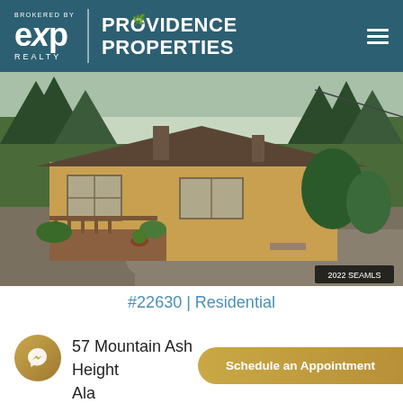[Figure (logo): eXp Realty brokered by Providence Properties logo on teal/dark blue background with hamburger menu icon]
[Figure (photo): Exterior photo of a single-story yellow/tan wood-sided ranch house with a chimney, wooden deck, gravel driveway, and surrounding forest trees. Watermark: 2022 SEAMLS]
#22630 | Residential
57 Mountain Ash Heights, Alaska
Schedule an Appointment